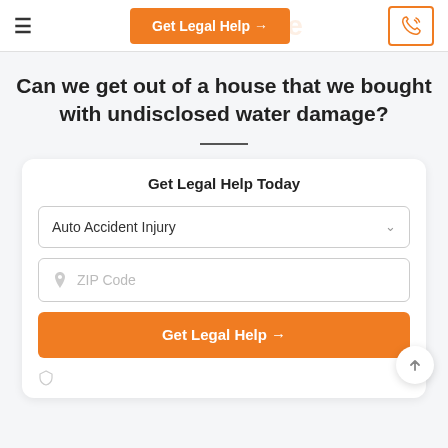Get Legal Help →
Can we get out of a house that we bought with undisclosed water damage?
Get Legal Help Today
Auto Accident Injury
ZIP Code
Get Legal Help →